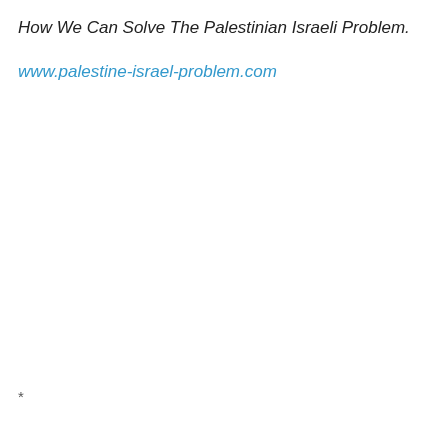How We Can Solve The Palestinian Israeli Problem.
www.palestine-israel-problem.com
*